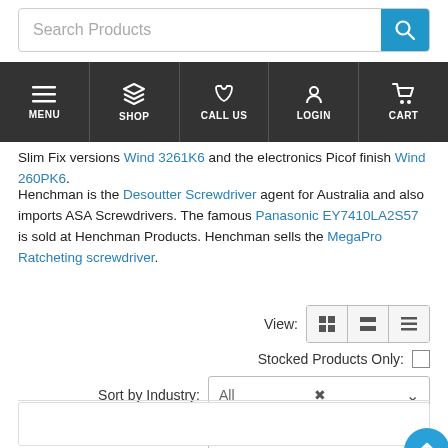[Figure (screenshot): Search bar with text 'Search Products' and blue search button]
[Figure (screenshot): Navigation bar with icons and labels: MENU, SHOP, CALL US, LOGIN, CART on dark background]
Slim Fix versions Wind 3261K6 and the electronics Picof finish Wind 260PK6. Henchman is the Desoutter Screwdriver agent for Australia and also imports ASA Screwdrivers. The famous Panasonic EY7410LA2S57 is sold at Henchman Products. Henchman sells the MegaPro Ratcheting screwdriver.
[Figure (screenshot): View toggle buttons (grid, list, table), Stocked Products Only checkbox, Sort by Industry dropdown set to 'All', Then dropdown set to 'Product Name', and a blue up-arrow scroll-to-top button]